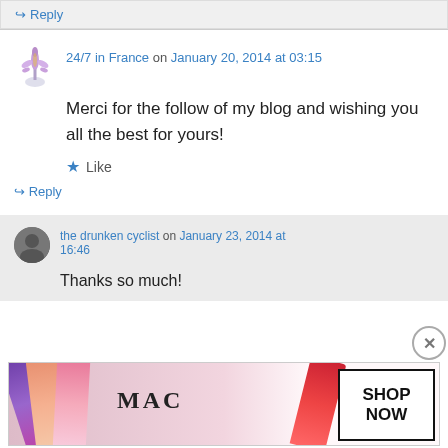↪ Reply
24/7 in France on January 20, 2014 at 03:15
Merci for the follow of my blog and wishing you all the best for yours!
★ Like
↪ Reply
the drunken cyclist on January 23, 2014 at 16:46
Thanks so much!
Advertisements
[Figure (photo): MAC cosmetics advertisement banner showing lipsticks in purple, peach, pink, and red colors with MAC logo and SHOP NOW text in a box]